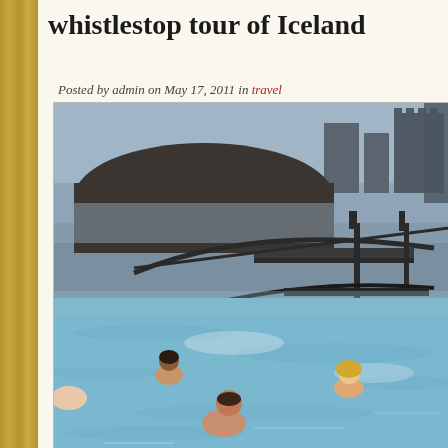whistlestop tour of Iceland
Posted by admin on May 17, 2011 in travel
[Figure (photo): People bathing in the Blue Lagoon geothermal pool in Iceland. Misty blue-grey water with a curved bridge/walkway structure visible, rocky lava fields and industrial buildings in the foggy background. Several swimmers visible in the foreground.]